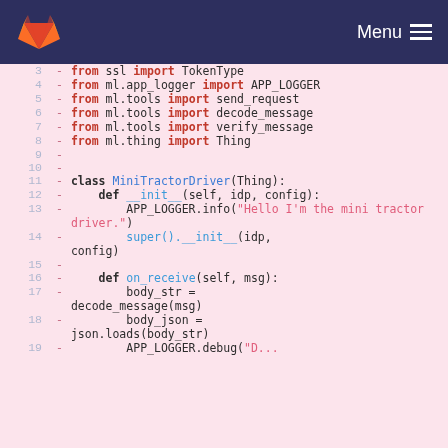GitLab navigation bar with logo and Menu button
[Figure (screenshot): GitLab diff code viewer showing Python code lines 3-18, removed lines (marked with -) on pink background. Code includes imports from ssl, ml.app_logger, ml.tools, ml.thing, and a class MiniTractorDriver(Thing) with __init__ and on_receive methods.]